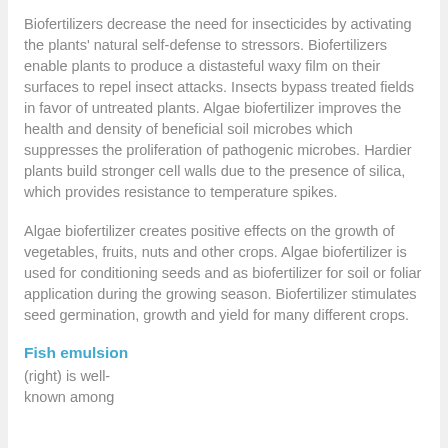Biofertilizers decrease the need for insecticides by activating the plants' natural self-defense to stressors. Biofertilizers enable plants to produce a distasteful waxy film on their surfaces to repel insect attacks. Insects bypass treated fields in favor of untreated plants. Algae biofertilizer improves the health and density of beneficial soil microbes which suppresses the proliferation of pathogenic microbes. Hardier plants build stronger cell walls due to the presence of silica, which provides resistance to temperature spikes.
Algae biofertilizer creates positive effects on the growth of vegetables, fruits, nuts and other crops. Algae biofertilizer is used for conditioning seeds and as biofertilizer for soil or foliar application during the growing season. Biofertilizer stimulates seed germination, growth and yield for many different crops.
Fish emulsion
(right) is well-known among